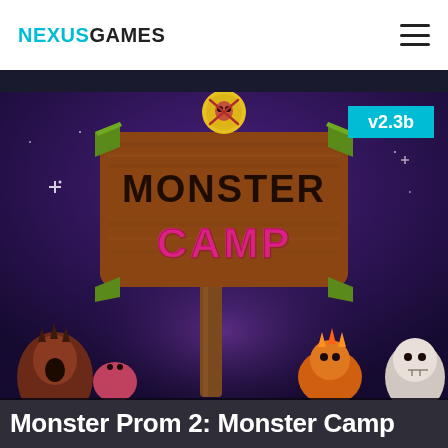NEXUSGAMES
[Figure (illustration): Monster Camp game art showing the Monster Prom 2: Monster Camp title logo on a wooden sign with cartoon monster characters below, set against a purple night sky background. A cyan version badge v2.3b appears in the upper right.]
Monster Prom 2: Monster Camp